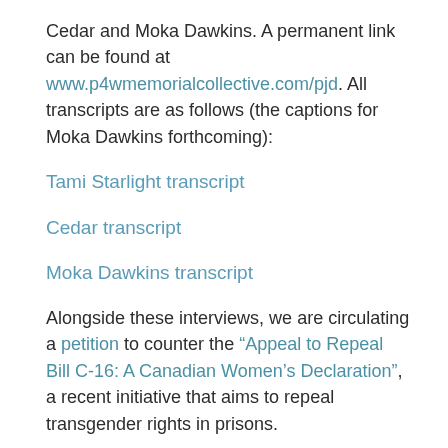Cedar and Moka Dawkins. A permanent link can be found at www.p4wmemorialcollective.com/pjd. All transcripts are as follows (the captions for Moka Dawkins forthcoming):
Tami Starlight transcript
Cedar transcript
Moka Dawkins transcript
Alongside these interviews, we are circulating a petition to counter the “Appeal to Repeal Bill C-16: A Canadian Women’s Declaration”, a recent initiative that aims to repeal transgender rights in prisons.